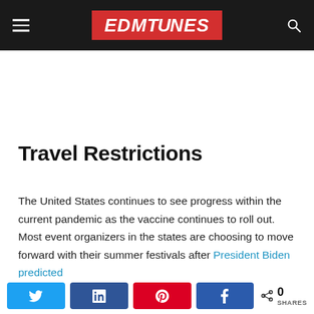EDMTunes
Travel Restrictions
The United States continues to see progress within the current pandemic as the vaccine continues to roll out. Most event organizers in the states are choosing to move forward with their summer festivals after President Biden predicted